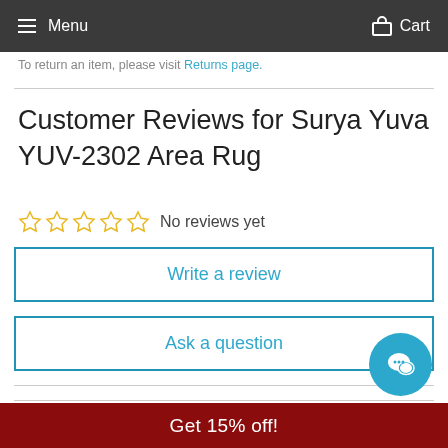Menu   Cart
To return an item, please visit Returns page.
Customer Reviews for Surya Yuva YUV-2302 Area Rug
☆☆☆☆☆ No reviews yet
Write a review
Ask a question
Get 15% off!